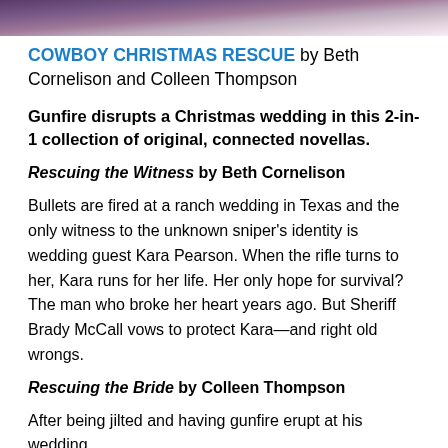[Figure (photo): Partial image of people at a wedding or formal event, cropped at the top of the page]
COWBOY CHRISTMAS RESCUE by Beth Cornelison and Colleen Thompson
Gunfire disrupts a Christmas wedding in this 2-in-1 collection of original, connected novellas.
Rescuing the Witness by Beth Cornelison
Bullets are fired at a ranch wedding in Texas and the only witness to the unknown sniper's identity is wedding guest Kara Pearson. When the rifle turns to her, Kara runs for her life. Her only hope for survival? The man who broke her heart years ago. But Sheriff Brady McCall vows to protect Kara—and right old wrongs.
Rescuing the Bride by Colleen Thompson
After being jilted and having gunfire erupt at his wedding,